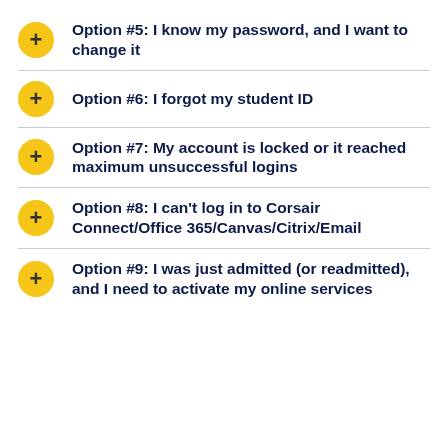Option #5:  I know my password, and I want to change it
Option #6:  I forgot my student ID
Option #7:  My account is locked or it reached maximum unsuccessful logins
Option #8:  I can't log in to Corsair Connect/Office 365/Canvas/Citrix/Email
Option #9:  I was just admitted (or readmitted), and I need to activate my online services